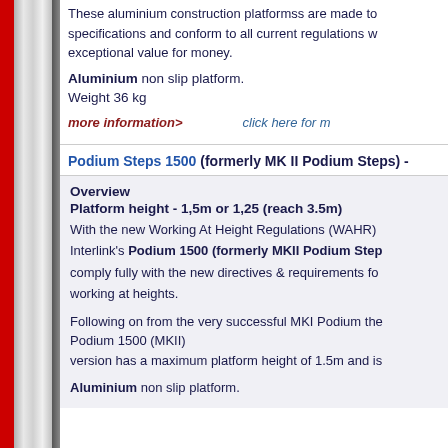These aluminium construction platformss are made to specifications and conform to all current regulations w exceptional value for money.
Aluminium non slip platform.
Weight 36 kg
more information>
click here for m
Podium Steps 1500 (formerly MK II Podium Steps) -
Overview
Platform height - 1,5m or 1,25 (reach 3.5m)
With the new Working At Height Regulations (WAHR) Interlink’s Podium 1500 (formerly MKII Podium Step comply fully with the new directives & requirements for working at heights.

Following on from the very successful MKI Podium th Podium 1500 (MKII) version has a maximum platform height of 1.5m and is

Aluminium non slip platform.